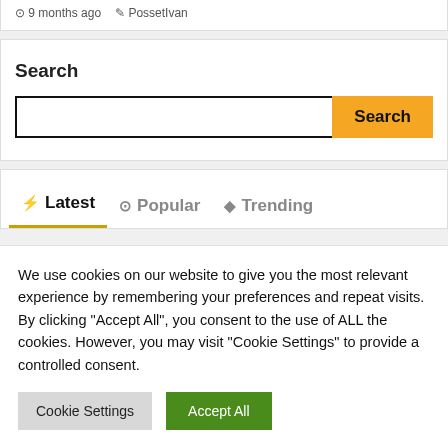9 months ago  PossetIvan
Search
Search
⚡ Latest   ⊙ Popular   ◆ Trending
We use cookies on our website to give you the most relevant experience by remembering your preferences and repeat visits. By clicking "Accept All", you consent to the use of ALL the cookies. However, you may visit "Cookie Settings" to provide a controlled consent.
Cookie Settings   Accept All